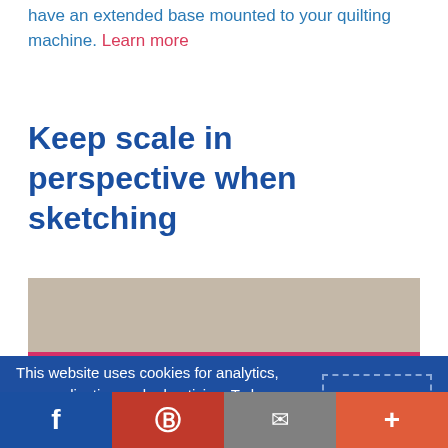have an extended base mounted to your quilting machine. Learn more
Keep scale in perspective when sketching
[Figure (photo): Partial image visible above cookie banner overlay, showing a beige/tan background with a pink horizontal stripe]
This website uses cookies for analytics, personalization and advertising. To learn more or change your cookie settings, please read our cookie policy. By continuing to browse, you agree to our use of cookies.
GOT IT!
Facebook | Pinterest | Email | More